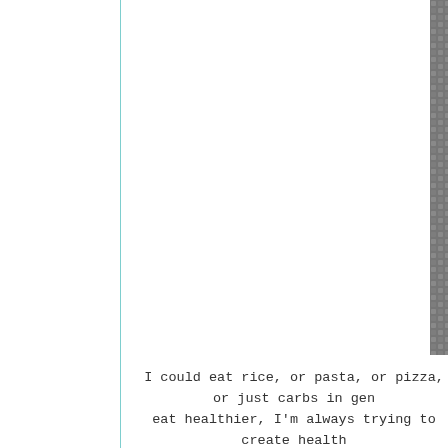[Figure (photo): A close-up photo of shrimp fried rice with egg pieces on a white plate, placed on a dark woven mat background. A watermark 'www.w...' is partially visible in the bottom right corner.]
I could eat rice, or pasta, or pizza, or just carbs in gen eat healthier, I'm always trying to create health This dish is my healthier ve